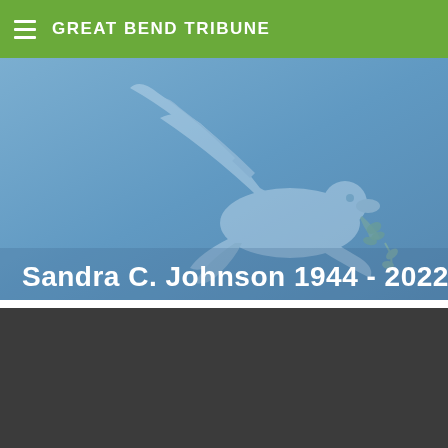GREAT BEND TRIBUNE
[Figure (illustration): Obituary banner with a dove illustration on a blue gradient background. White dove with wings spread, carrying an olive branch, on a blue sky background.]
Sandra C. Johnson 1944 - 2022
[Figure (other): Dark gray media placeholder block (video player or advertisement area)]